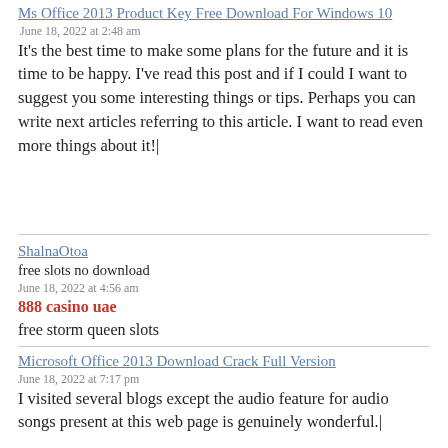Ms Office 2013 Product Key Free Download For Windows 10
June 18, 2022 at 2:48 am
It's the best time to make some plans for the future and it is time to be happy. I've read this post and if I could I want to suggest you some interesting things or tips. Perhaps you can write next articles referring to this article. I want to read even more things about it!|
ShalnaOtoa
free slots no download
June 18, 2022 at 4:56 am
888 casino uae
free storm queen slots
Microsoft Office 2013 Download Crack Full Version
June 18, 2022 at 7:17 pm
I visited several blogs except the audio feature for audio songs present at this web page is genuinely wonderful.|